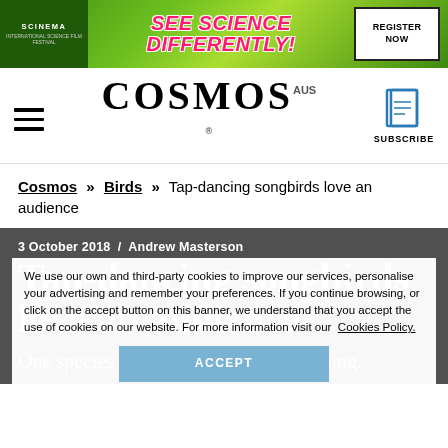[Figure (other): Banner advertisement for ScinemA/science event with green background, pink italic text 'SEE SCIENCE DIFFERENTLY!' and white box with 'REGISTER NOW']
COSMOS | SUBSCRIBE
Cosmos » Birds » Tap-dancing songbirds love an audience
3 October 2018 / Andrew Masterson
Tap-dancing songbirds love an audience
We use our own and third-party cookies to improve our services, personalise your advertising and remember your preferences. If you continue browsing, or click on the accept button on this banner, we understand that you accept the use of cookies on our website. For more information visit our Cookies Policy.
ACCEPT
One species dances like no one's watching.